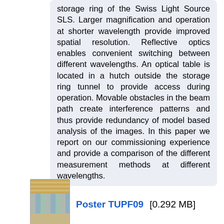storage ring of the Swiss Light Source SLS. Larger magnification and operation at shorter wavelength provide improved spatial resolution. Reflective optics enables convenient switching between different wavelengths. An optical table is located in a hutch outside the storage ring tunnel to provide access during operation. Movable obstacles in the beam path create interference patterns and thus provide redundancy of model based analysis of the images. In this paper we report on our commissioning experience and provide a comparison of the different measurement methods at different wavelengths.
[Figure (thumbnail): Small thumbnail preview of poster TUPF09]
Poster TUPF09 [0.292 MB]